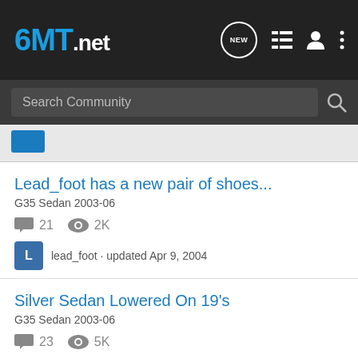6MT.net
Search Community
Lead_foot has a new pair of shoes...
G35 Sedan 2003-06
21 replies · 2K views
lead_foot · updated Apr 9, 2004
Silver Sedan Lowered On 19's
G35 Sedan 2003-06
23 replies · 5K views
xzellerate · updated Aug 11, 2003